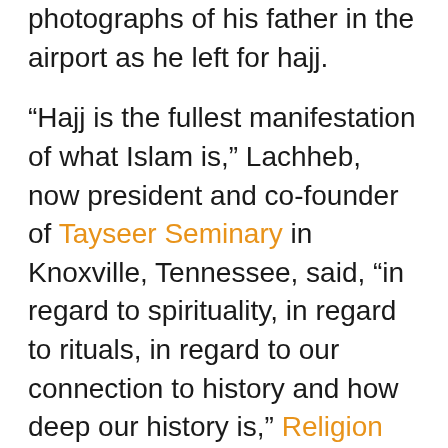photographs of his father in the airport as he left for hajj.
“Hajj is the fullest manifestation of what Islam is,” Lachheb, now president and co-founder of Tayseer Seminary in Knoxville, Tennessee, said, “in regard to spirituality, in regard to rituals, in regard to our connection to history and how deep our history is,” Religion News reported.